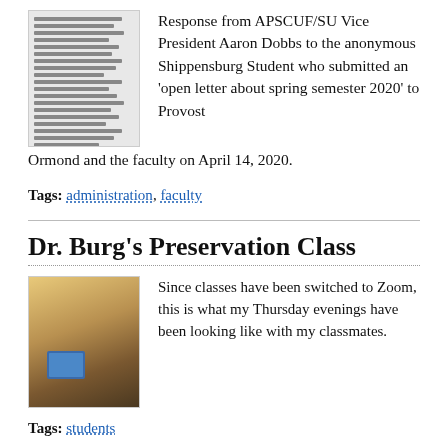[Figure (illustration): Thumbnail image of a text document]
Response from APSCUF/SU Vice President Aaron Dobbs to the anonymous Shippensburg Student who submitted an 'open letter about spring semester 2020' to Provost Ormond and the faculty on April 14, 2020.
Tags: administration, faculty
Dr. Burg's Preservation Class
[Figure (photo): Photo of a person sitting at a desk with a laptop showing a Zoom class on screen]
Since classes have been switched to Zoom, this is what my Thursday evenings have been looking like with my classmates.
Tags: students